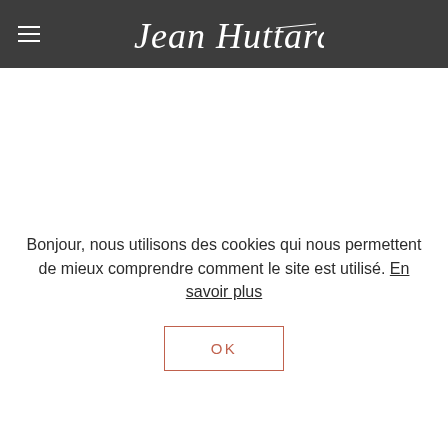Jean Huttard
Bonjour, nous utilisons des cookies qui nous permettent de mieux comprendre comment le site est utilisé. En savoir plus
OK